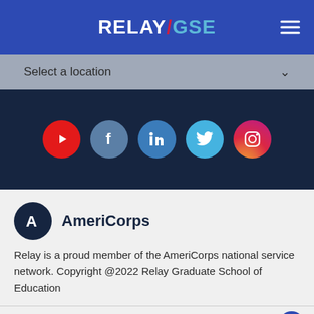RELAY/GSE
[Figure (other): Select a location dropdown with chevron arrow]
[Figure (other): Social media icons row: YouTube, Facebook, LinkedIn, Twitter, Instagram]
[Figure (logo): AmeriCorps logo: circular navy badge with stylized A, and AmeriCorps text]
Relay is a proud member of the AmeriCorps national service network. Copyright @2022 Relay Graduate School of Education
Privacy Policy | Policies